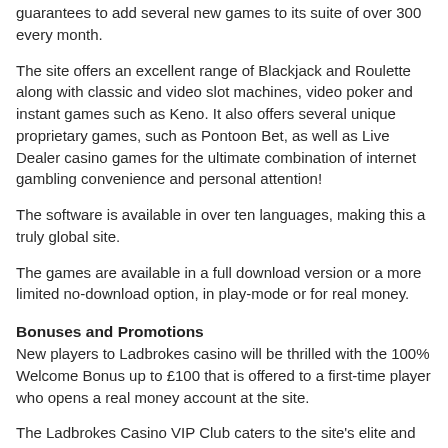guarantees to add several new games to its suite of over 300 every month.
The site offers an excellent range of Blackjack and Roulette along with classic and video slot machines, video poker and instant games such as Keno. It also offers several unique proprietary games, such as Pontoon Bet, as well as Live Dealer casino games for the ultimate combination of internet gambling convenience and personal attention!
The software is available in over ten languages, making this a truly global site.
The games are available in a full download version or a more limited no-download option, in play-mode or for real money.
Bonuses and Promotions
New players to Ladbrokes casino will be thrilled with the 100% Welcome Bonus up to £100 that is offered to a first-time player who opens a real money account at the site.
The Ladbrokes Casino VIP Club caters to the site's elite and most loyal players, and offers them a VIP lounge, great rewards, regular events and exclusive promotions. Members are even assigned their very own VIP loyalty manager!
Payments and Promotions